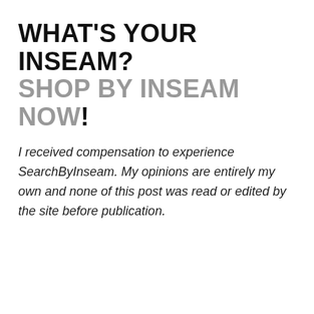WHAT'S YOUR INSEAM? SHOP BY INSEAM NOW!
I received compensation to experience SearchByInseam. My opinions are entirely my own and none of this post was read or edited by the site before publication.